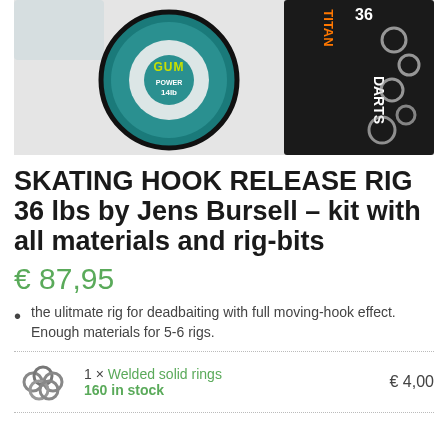[Figure (photo): Product photo showing fishing rig materials: a spool of Power Gum line (14lb) and a pack of Darts tackle with 36 solid rings]
SKATING HOOK RELEASE RIG 36 lbs by Jens Bursell – kit with all materials and rig-bits
€ 87,95
the ulitmate rig for deadbaiting with full moving-hook effect. Enough materials for 5-6 rigs.
1 × Welded solid rings
160 in stock
€ 4,00